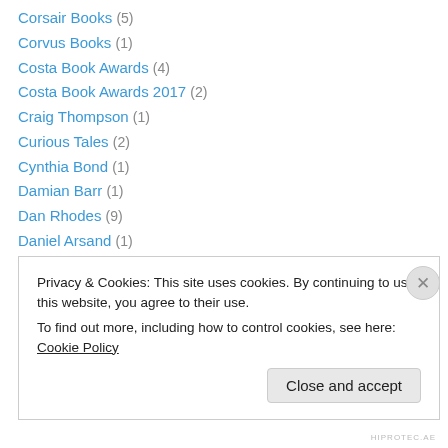Corsair Books (5)
Corvus Books (1)
Costa Book Awards (4)
Costa Book Awards 2017 (2)
Craig Thompson (1)
Curious Tales (2)
Cynthia Bond (1)
Damian Barr (1)
Dan Rhodes (9)
Daniel Arsand (1)
Daniel Clowes (1)
Daniel Keyes (2)
Daniel Woodrell (1)
Privacy & Cookies: This site uses cookies. By continuing to use this website, you agree to their use.
To find out more, including how to control cookies, see here: Cookie Policy
HIPROTEC.AE